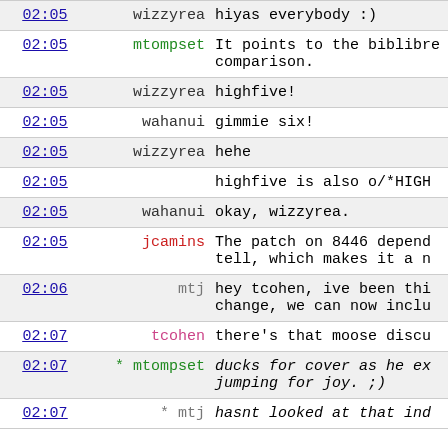| time | user | message |
| --- | --- | --- |
| 02:05 | wizzyrea | hiyas everybody :) |
| 02:05 | mtompset | It points to the biblibre comparison. |
| 02:05 | wizzyrea | highfive! |
| 02:05 | wahanui | gimmie six! |
| 02:05 | wizzyrea | hehe |
| 02:05 |  | highfive is also o/*HIGH |
| 02:05 | wahanui | okay, wizzyrea. |
| 02:05 | jcamins | The patch on 8446 depend tell, which makes it a n |
| 02:06 | mtj | hey tcohen, ive been thi change, we can now inclu |
| 02:07 | tcohen | there's that moose discu |
| 02:07 | * mtompset | ducks for cover as he ex jumping for joy. ;) |
| 02:07 | * mtj | hasnt looked at that ind |